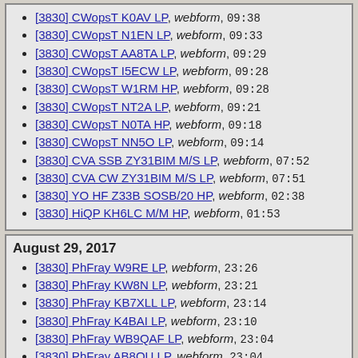[3830] CWopsT K0AV LP, webform, 09:38
[3830] CWopsT N1EN LP, webform, 09:33
[3830] CWopsT AA8TA LP, webform, 09:29
[3830] CWopsT I5ECW LP, webform, 09:28
[3830] CWopsT W1RM HP, webform, 09:28
[3830] CWopsT NT2A LP, webform, 09:21
[3830] CWopsT N0TA HP, webform, 09:18
[3830] CWopsT NN5O LP, webform, 09:14
[3830] CVA SSB ZY31BIM M/S LP, webform, 07:52
[3830] CVA CW ZY31BIM M/S LP, webform, 07:51
[3830] YO HF Z33B SOSB/20 HP, webform, 02:38
[3830] HiQP KH6LC M/M HP, webform, 01:53
August 29, 2017
[3830] PhFray W9RE LP, webform, 23:26
[3830] PhFray KW8N LP, webform, 23:21
[3830] PhFray KB7XLL LP, webform, 23:14
[3830] PhFray K4BAI LP, webform, 23:10
[3830] PhFray WB9QAF LP, webform, 23:04
[3830] PhFray AB8OU LP, webform, 23:04
[3830] PhFray N3QE LP, webform, 23:00
[3830] YO HF SP4Z/VE3(@VE3EID) SO CW HP, webform, 22:41
[3830] HiQP K9BBQ SOAB LP, webform, 22:38
[3830] HiQP K9BB SOAB LP, webform, 22:37